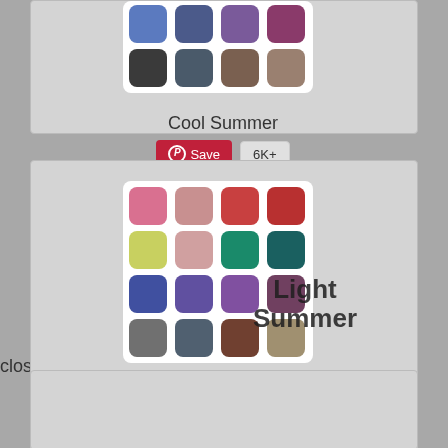[Figure (screenshot): Screenshot of a website showing color palettes for 'Cool Summer' and 'Light Summer' seasonal color analysis. Two cards visible with color swatches in pinks, reds, greens, blues, purples, grays, and browns. Each card has a red Pinterest Save button and a '6K+' count badge.]
close
Cool Summer
Save 6K+
Light Summer
Cool Summer
Save 6K+